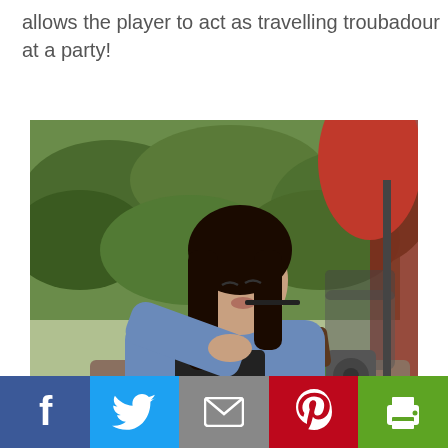allows the player to act as travelling troubadour at a party!
[Figure (photo): A young woman with long dark hair, wearing a denim jacket, playing a Pianica (melodica keyboard) flat on an outdoor table. She is blowing into the mouthpiece. On the table there is also a smartphone on a teal notebook, a green mug, and a speaker. Background is a green hedge and a red patio umbrella.]
The Pianica played flat on a table.
[Figure (infographic): Social media sharing bar with five buttons: Facebook (blue), Twitter (light blue), Email (gray), Pinterest (red), Print (green).]